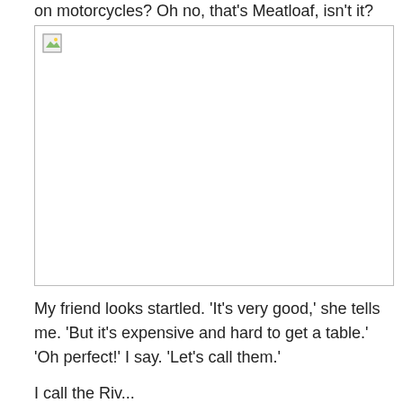on motorcycles? Oh no, that's Meatloaf, isn't it?
[Figure (photo): A broken/missing image placeholder with a small landscape icon in the top-left corner, shown within a bordered rectangle.]
My friend looks startled. ‘It’s very good,’ she tells me. ‘But it’s expensive and hard to get a table.’ ‘Oh perfect!’ I say. ‘Let’s call them.’
I call the Riv...